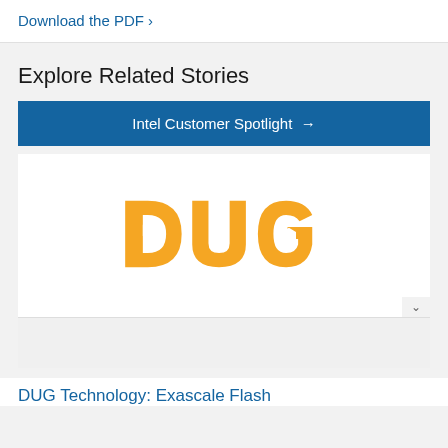Download the PDF ›
Explore Related Stories
Intel Customer Spotlight →
[Figure (logo): DUG logo in orange color, stylized lowercase letters 'd', 'u', 'g' with geometric hexagonal styling]
DUG Technology: Exascale Flash